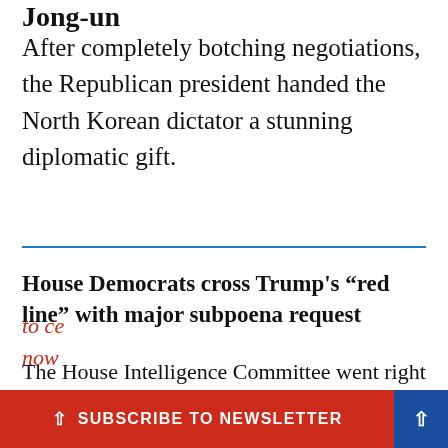Jong-un
After completely botching negotiations, the Republican president handed the North Korean dictator a stunning diplomatic gift.
House Democrats cross Trump's “red line” with major subpoena request
The House Intelligence Committee went right for the jugular, and the President is going to be furious.
Take Action: Sign the petition to tell Congress to ce[rtify the election results] now[.]